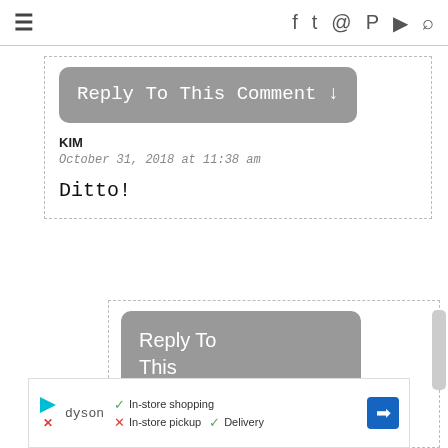≡  [social icons: facebook, twitter, instagram, pinterest, youtube, search]
[Figure (screenshot): Reply To This Comment button (grey rounded rectangle, monospace white text)]
KIM
October 31, 2018 at 11:38 am
Ditto!
[Figure (screenshot): Reply To This Comment button (grey rounded rectangle, sans-serif white text) — partially visible second comment block]
[Figure (screenshot): Dyson advertisement bar: In-store shopping (check), In-store pickup (x), Delivery (check), navigation icon]